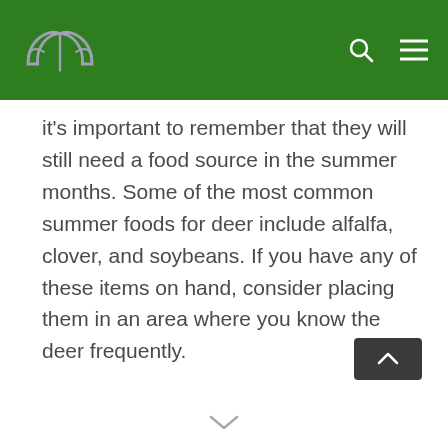it's important to remember that they will still need a food source in the summer months. Some of the most common summer foods for deer include alfalfa, clover, and soybeans. If you have any of these items on hand, consider placing them in an area where you know the deer frequently.